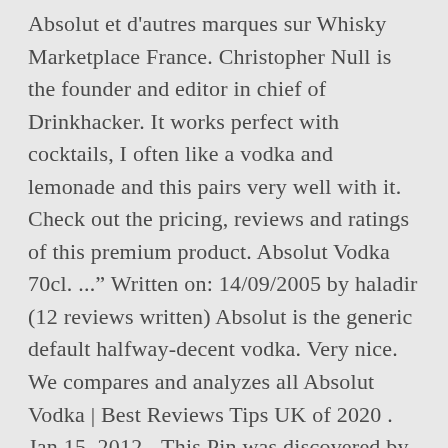Absolut et d'autres marques sur Whisky Marketplace France. Christopher Null is the founder and editor in chief of Drinkhacker. It works perfect with cocktails, I often like a vodka and lemonade and this pairs very well with it. Check out the pricing, reviews and ratings of this premium product. Absolut Vodka 70cl. ..." Written on: 14/09/2005 by haladir (12 reviews written) Absolut is the generic default halfway-decent vodka. Very nice. We compares and analyzes all Absolut Vodka | Best Reviews Tips UK of 2020 . Jan 15, 2012 - This Pin was discovered by thibaut GAUTIER. Brand: Absolut Model: 7312040090754 Skyy Vodka . But there's just something that I never liked about Absolut Vodka. Absolut Peppar was on the first vodka I...